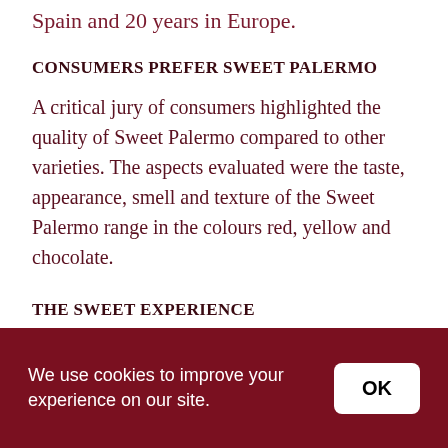the award ceremony for more than 25 years in Spain and 20 years in Europe.
CONSUMERS PREFER SWEET PALERMO
A critical jury of consumers highlighted the quality of Sweet Palermo compared to other varieties. The aspects evaluated were the taste, appearance, smell and texture of the Sweet Palermo range in the colours red, yellow and chocolate.
THE SWEET EXPERIENCE
We use cookies to improve your experience on our site.